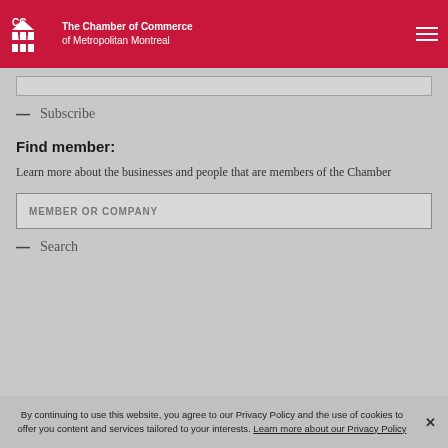The Chamber of Commerce of Metropolitan Montreal
Subscribe
Find member:
Learn more about the businesses and people that are members of the Chamber
MEMBER OR COMPANY
Search
By continuing to use this website, you agree to our Privacy Policy and the use of cookies to offer you content and services tailored to your interests. Learn more about our Privacy Policy